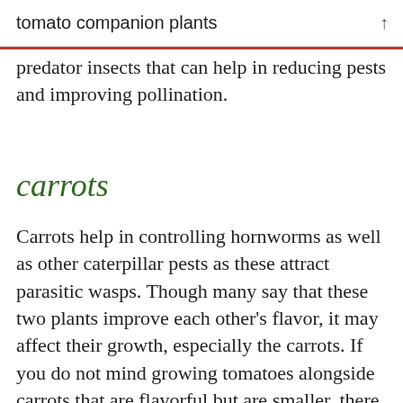tomato companion plants
predator insects that can help in reducing pests and improving pollination.
carrots
Carrots help in controlling hornworms as well as other caterpillar pests as these attract parasitic wasps. Though many say that these two plants improve each other’s flavor, it may affect their growth, especially the carrots. If you do not mind growing tomatoes alongside carrots that are flavorful but are smaller, there is no reason why you should not try this combination.